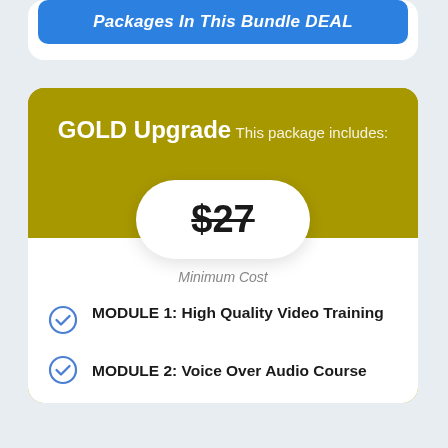Packages In This Bundle DEAL
GOLD Upgrade
This package includes:
$27
Minimum Cost
MODULE 1: High Quality Video Training
MODULE 2: Voice Over Audio Course